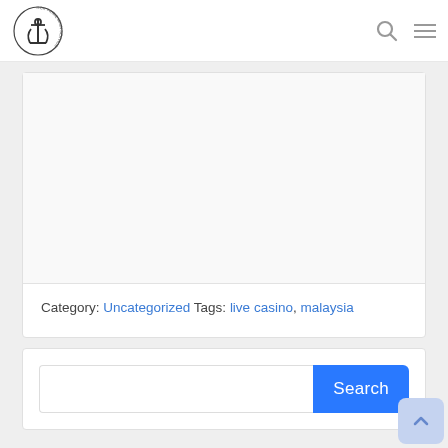[Figure (logo): Circular anchor logo for a maritime school or organization, with text around the anchor icon]
Category: Uncategorized Tags: live casino, malaysia
[Figure (other): Empty white image placeholder area inside an article card]
Search button with text input field